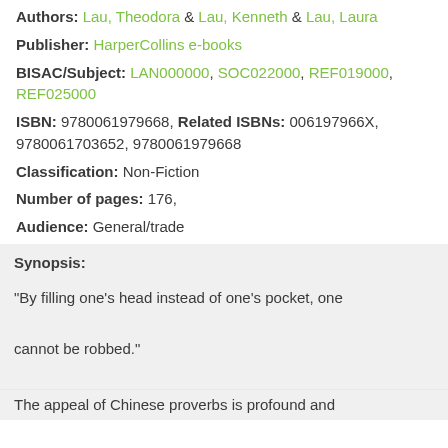Authors: Lau, Theodora & Lau, Kenneth & Lau, Laura
Publisher: HarperCollins e-books
BISAC/Subject: LAN000000, SOC022000, REF019000, REF025000
ISBN: 9780061979668, Related ISBNs: 006197966X, 9780061703652, 9780061979668
Classification: Non-Fiction
Number of pages: 176,
Audience: General/trade
Synopsis:
"By filling one's head instead of one's pocket, one cannot be robbed."
The appeal of Chinese proverbs is profound and